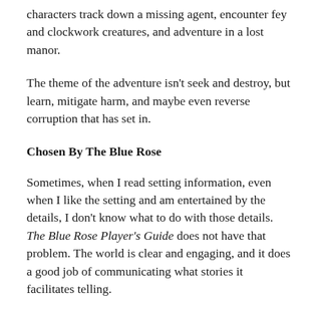characters track down a missing agent, encounter fey and clockwork creatures, and adventure in a lost manor.
The theme of the adventure isn't seek and destroy, but learn, mitigate harm, and maybe even reverse corruption that has set in.
Chosen By The Blue Rose
Sometimes, when I read setting information, even when I like the setting and am entertained by the details, I don't know what to do with those details. The Blue Rose Player's Guide does not have that problem. The world is clear and engaging, and it does a good job of communicating what stories it facilitates telling.